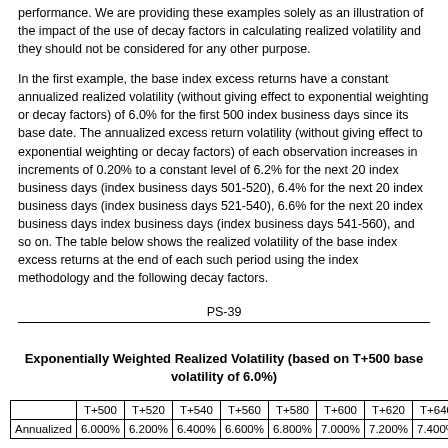performance. We are providing these examples solely as an illustration of the impact of the use of decay factors in calculating realized volatility and they should not be considered for any other purpose.
In the first example, the base index excess returns have a constant annualized realized volatility (without giving effect to exponential weighting or decay factors) of 6.0% for the first 500 index business days since its base date. The annualized excess return volatility (without giving effect to exponential weighting or decay factors) of each observation increases in increments of 0.20% to a constant level of 6.2% for the next 20 index business days (index business days 501-520), 6.4% for the next 20 index business days (index business days 521-540), 6.6% for the next 20 index business days index business days (index business days 541-560), and so on. The table below shows the realized volatility of the base index excess returns at the end of each such period using the index methodology and the following decay factors.
PS-39
Exponentially Weighted Realized Volatility (based on T+500 base volatility of 6.0%)
|  | T+500 | T+520 | T+540 | T+560 | T+580 | T+600 | T+620 | T+640 |
| --- | --- | --- | --- | --- | --- | --- | --- | --- |
| Annualized | 6.000% | 6.200% | 6.400% | 6.600% | 6.800% | 7.000% | 7.200% | 7.400% |